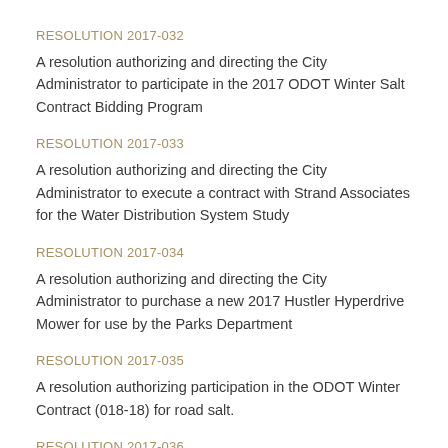RESOLUTION 2017-032
A resolution authorizing and directing the City Administrator to participate in the 2017 ODOT Winter Salt Contract Bidding Program
RESOLUTION 2017-033
A resolution authorizing and directing the City Administrator to execute a contract with Strand Associates for the Water Distribution System Study
RESOLUTION 2017-034
A resolution authorizing and directing the City Administrator to purchase a new 2017 Hustler Hyperdrive Mower for use by the Parks Department
RESOLUTION 2017-035
A resolution authorizing participation in the ODOT Winter Contract (018-18) for road salt.
RESOLUTION 2017-036
A resolution authorizing the final agreement for the Columbia Road Bridge Replacement Project (ODOT project #R-914174)